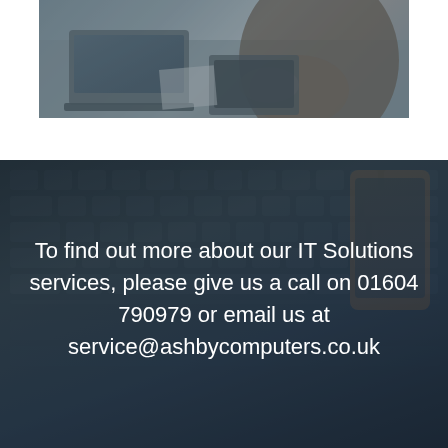[Figure (photo): A photo of people working at a desk with laptops, viewed from above, with a dark blue-grey tint overlay]
To find out more about our IT Solutions services, please give us a call on 01604 790979 or email us at service@ashbycomputers.co.uk